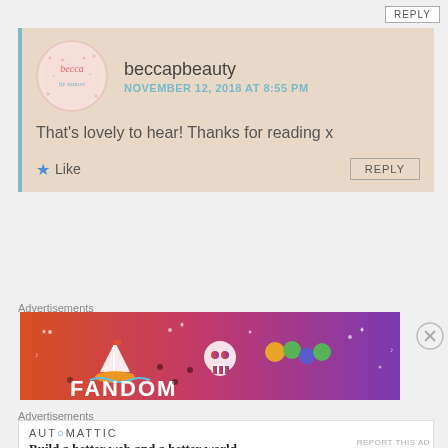REPLY
beccapbeauty
NOVEMBER 12, 2018 AT 8:55 PM
That's lovely to hear! Thanks for reading x
Like
REPLY
Advertisements
[Figure (illustration): Fandom advertisement banner with colorful gradient background (orange to purple), featuring cartoon illustrations of a sailboat, skull, gems, and the word FANDOM in large white letters]
Advertisements
[Figure (logo): Automattic advertisement with logo text AUT○MATTIC and tagline: Build a better web and a better world.]
REPORT THIS AD